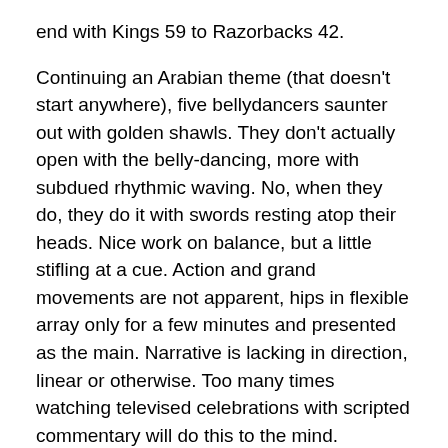end with Kings 59 to Razorbacks 42.
Continuing an Arabian theme (that doesn't start anywhere), five bellydancers saunter out with golden shawls. They don't actually open with the belly-dancing, more with subdued rhythmic waving. No, when they do, they do it with swords resting atop their heads. Nice work on balance, but a little stifling at a cue. Action and grand movements are not apparent, hips in flexible array only for a few minutes and presented as the main. Narrative is lacking in direction, linear or otherwise. Too many times watching televised celebrations with scripted commentary will do this to the mind.
Weeks of kung fu inspired poster ads gracing the middle of the dirty street press finally show their meaning. On the Philips big screen, and after the commercial featuring the gospel choir led by Bernie Mac, LeBron James stars in a lengthy promo the likes of which have